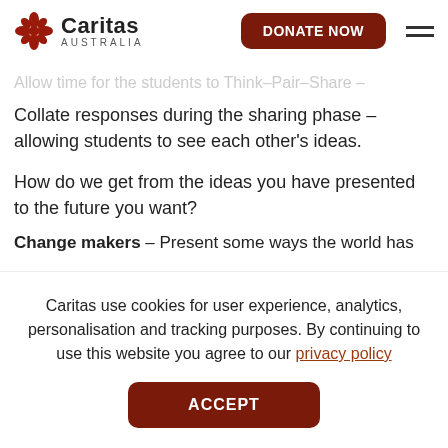Caritas Australia — DONATE NOW
Collate responses during the sharing phase – allowing students to see each other's ideas.
How do we get from the ideas you have presented to the future you want?
Change makers – Present some ways the world has
Caritas use cookies for user experience, analytics, personalisation and tracking purposes. By continuing to use this website you agree to our privacy policy
ACCEPT